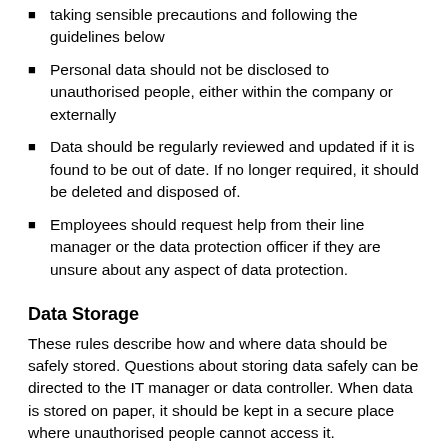taking sensible precautions and following the guidelines below
Personal data should not be disclosed to unauthorised people, either within the company or externally
Data should be regularly reviewed and updated if it is found to be out of date. If no longer required, it should be deleted and disposed of.
Employees should request help from their line manager or the data protection officer if they are unsure about any aspect of data protection.
Data Storage
These rules describe how and where data should be safely stored. Questions about storing data safely can be directed to the IT manager or data controller. When data is stored on paper, it should be kept in a secure place where unauthorised people cannot access it.